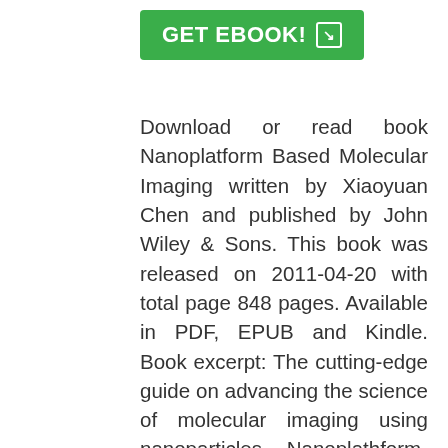[Figure (other): Green button labeled GET EBOOK! with a download arrow icon]
Download or read book Nanoplatform Based Molecular Imaging written by Xiaoyuan Chen and published by John Wiley & Sons. This book was released on 2011-04-20 with total page 848 pages. Available in PDF, EPUB and Kindle. Book excerpt: The cutting-edge guide on advancing the science of molecular imaging using nanoparticles Nanoplathform-Based Molecular Imaging provides rationale for using nanoparticle-based probes for molecular imaging, then discusses general strategies for this underutilized, yet promising, technology. It addresses general strategies of particle synthesis and surface chemistry, applications in computed tomography optical imaging, magnetic resonance imaging, ultrasound, multimodality imaging,